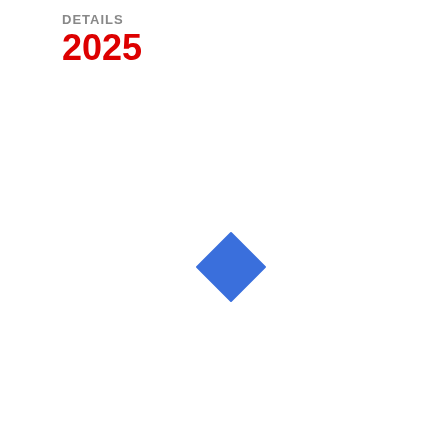DETAILS
2025
[Figure (illustration): A blue diamond (rotated square) shape centered slightly left of page center, approximately at coordinates (232, 265) on the page.]